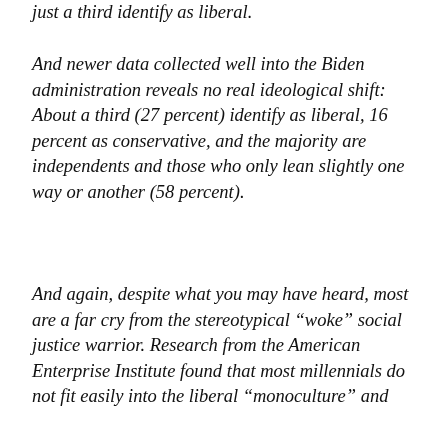just a third identify as liberal.
And newer data collected well into the Biden administration reveals no real ideological shift: About a third (27 percent) identify as liberal, 16 percent as conservative, and the majority are independents and those who only lean slightly one way or another (58 percent).
And again, despite what you may have heard, most are a far cry from the stereotypical “woke” social justice warrior. Research from the American Enterprise Institute found that most millennials do not fit easily into the liberal “monoculture” and